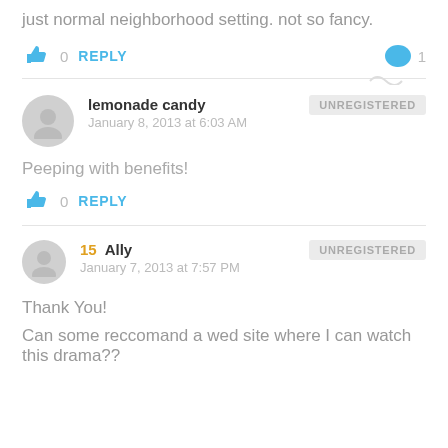just normal neighborhood setting. not so fancy.
0  REPLY   1
lemonade candy
January 8, 2013 at 6:03 AM
UNREGISTERED
Peeping with benefits!
0  REPLY
15  Ally
January 7, 2013 at 7:57 PM
UNREGISTERED
Thank You!

Can some reccomand a wed site where I can watch this drama??